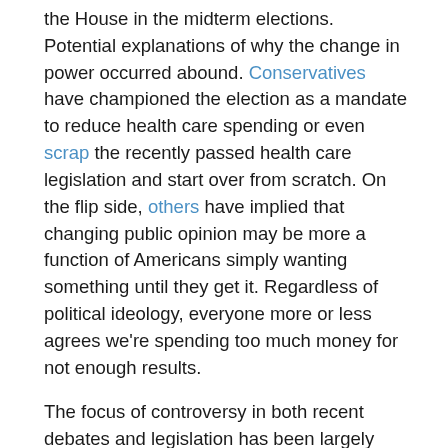the House in the midterm elections. Potential explanations of why the change in power occurred abound. Conservatives have championed the election as a mandate to reduce health care spending or even scrap the recently passed health care legislation and start over from scratch. On the flip side, others have implied that changing public opinion may be more a function of Americans simply wanting something until they get it. Regardless of political ideology, everyone more or less agrees we're spending too much money for not enough results.
The focus of controversy in both recent debates and legislation has been largely about insurance reform. What has been absent from these discussions is how health care reform can 1) change how we approach the delivery of health care and 2) support improved health over the life of an individual. Currently, care is sporadic, reactive, uncoordinated, and based on a reimbursement which rewards treatment of disease rather than prevention of disease. If you have any doubt of this just look at any of the highest paid medical specialties – cardiology, radiology, oncology, gastroenterology, and surgery – all procedure based specialties that are well-reimbursed under our current system. We at the [continues...]